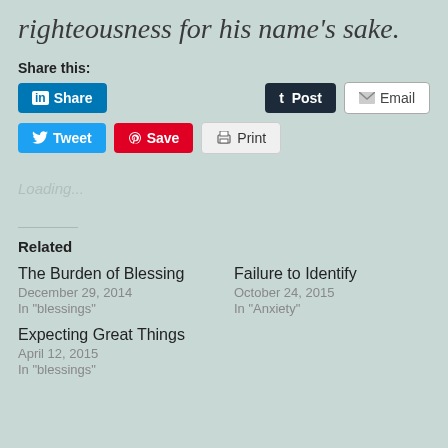righteousness for his name's sake.
Share this:
[Figure (screenshot): Social share buttons: LinkedIn Share, Tumblr Post, Email, Twitter Tweet, Pinterest Save, Print]
Loading...
Related
The Burden of Blessing
December 29, 2014
In "blessings"
Failure to Identify
October 24, 2015
In "Anxiety"
Expecting Great Things
April 12, 2015
In "blessings"